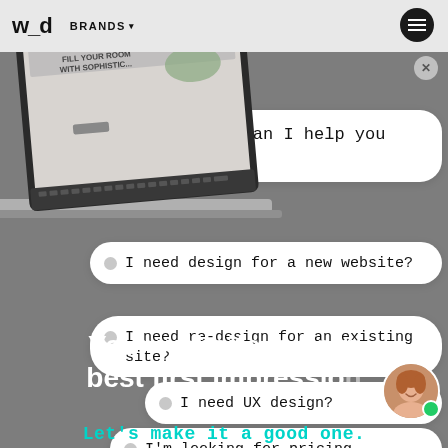w_d  BRANDS ▾
[Figure (screenshot): Laptop showing a furniture/interior design website with text 'FILL YOUR ROOM WITH SOPHISTIC...']
Welcome! How can I help you today?
I need design for a new website?
I need re-design for an existing site?
I need UX design?
I'm looking for pricing.
Your website is your best first impression
Let's make it a good one.